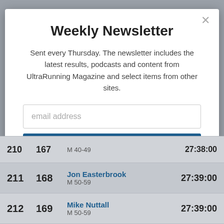Weekly Newsletter
Sent every Thursday. The newsletter includes the latest results, podcasts and content from UltraRunning Magazine and select items from other sites.
email address
Subscribe
| Overall | Gender | Name / Category | Time |
| --- | --- | --- | --- |
| 210 | 167 | M 40-49 | 27:38:00 |
| 211 | 168 | Jon Easterbrook
M 50-59 | 27:39:00 |
| 212 | 169 | Mike Nuttall
M 50-59 | 27:39:00 |